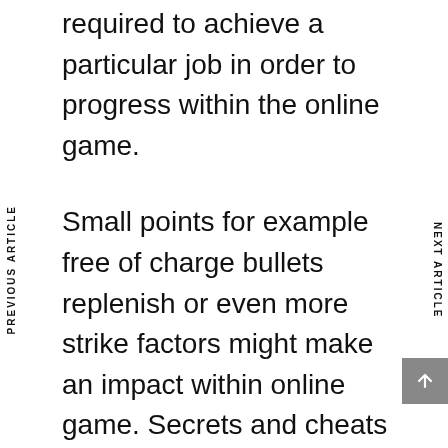required to achieve a particular job in order to progress within the online game.
Small points for example free of charge bullets replenish or even more strike factors might make an impact within online game. Secrets and cheats might be employed to help to make a person's personality more powerful in order to not pass away as often when compared with whenever the first is not really utilizing any kind of be unfaithful. Along with game titles, every thing can be done. Designers location be unfaithful rules